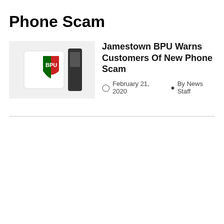Phone Scam
[Figure (photo): Thumbnail image showing a BPU logo/sign, white background with red and green BPU branding]
Jamestown BPU Warns Customers Of New Phone Scam
February 21, 2020   By News Staff